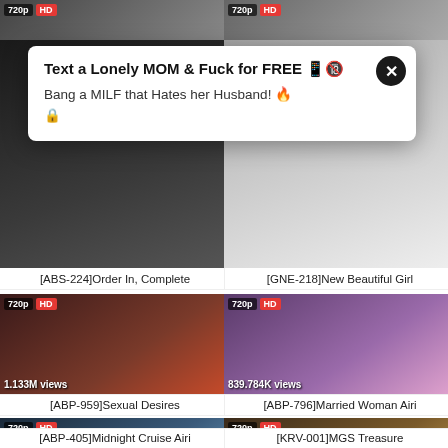[Figure (screenshot): Top strip showing partial video thumbnails with 720p HD badges]
[Figure (screenshot): Popup advertisement overlay: 'Text a Lonely MOM & Fuck for FREE' with close button]
[Figure (screenshot): Video thumbnail for [ABS-224]Order In, Complete]
[ABS-224]Order In, Complete
[Figure (screenshot): Video thumbnail for [GNE-218]New Beautiful Girl]
[GNE-218]New Beautiful Girl
[Figure (screenshot): Video thumbnail for [ABP-959]Sexual Desires, 720p HD, 1.133M views]
[ABP-959]Sexual Desires
[Figure (screenshot): Video thumbnail for [ABP-796]Married Woman Airi, 720p HD, 839.784K views]
[ABP-796]Married Woman Airi
[Figure (screenshot): Video thumbnail for [ABP-405]Midnight Cruise Airi, 720p HD, 973.592K views]
[ABP-405]Midnight Cruise Airi
[Figure (screenshot): Video thumbnail for [KRV-001]MGS Treasure, 720p HD, 1.358M views]
[KRV-001]MGS Treasure